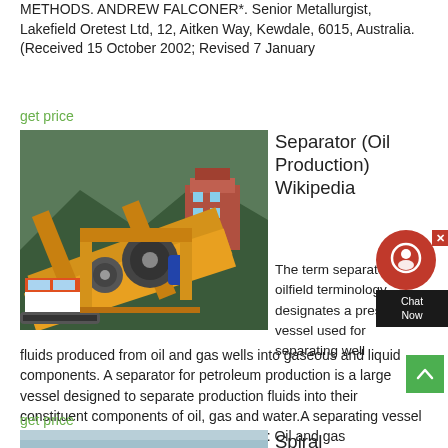METHODS. ANDREW FALCONER*. Senior Metallurgist, Lakefield Oretest Ltd, 12, Aitken Way, Kewdale, 6015, Australia. (Received 15 October 2002; Revised 7 January
get price
[Figure (photo): Industrial mining/crushing machinery - yellow equipment with conveyor belts and operator cabin, positioned on a hillside]
Separator (Oil Production) Wikipedia
The term separator in oilfield terminology designates a pressure vessel used for separating well fluids produced from oil and gas wells into gaseous and liquid components. A separator for petroleum production is a large vessel designed to separate production fluids into their constituent components of oil, gas and water.A separating vessel may be referred to in the following ways: Oil and gas
get price
[Figure (photo): Partial image of Spiral Concentrator equipment - light blue/grey background with machinery visible at bottom]
Spiral Concentrator